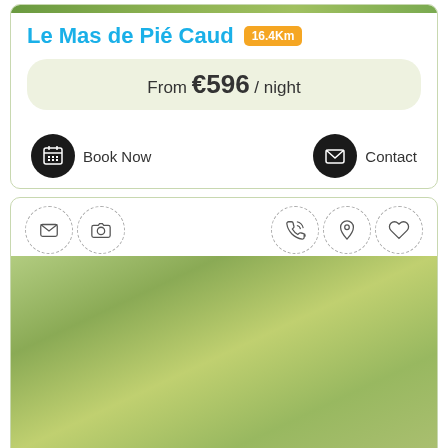Le Mas de Pié Caud 16.4Km
From €596 / night
Book Now   Contact
[Figure (screenshot): Icon strip with mail, camera, phone, location pin, and heart icons in dashed circles]
[Figure (photo): Outdoor greenery/garden photo for Le Mas des Anges listing]
Le Mas des Anges 18Km
From €95 / night
Book Now   Contact